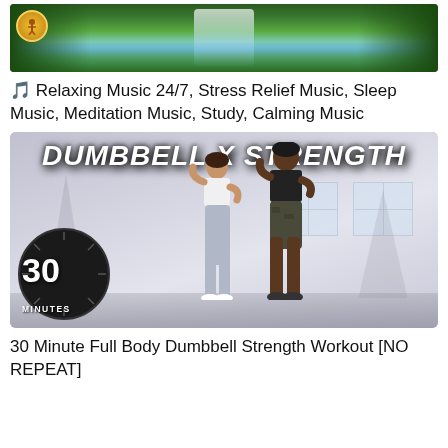[Figure (screenshot): Thumbnail for relaxing music channel showing waterfall in lush green forest with yoga/meditation logo circle in top-left corner]
🎵 Relaxing Music 24/7, Stress Relief Music, Sleep Music, Meditation Music, Study, Calming Music
[Figure (screenshot): YouTube thumbnail for 30 Minute Full Body Dumbbell Strength Workout [NO REPEAT] showing two fitness instructors (a woman in white sports bra and gray leggings, and a man in black tank top and camo shorts) posing in a gym, with large bold white italic text 'DUMBBELL X STRENGTH' at top, and a 30 MINUTES timer graphic in bottom-left corner]
30 Minute Full Body Dumbbell Strength Workout [NO REPEAT]